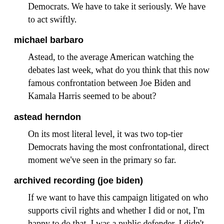Democrats. We have to take it seriously. We have to act swiftly.
michael barbaro
Astead, to the average American watching the debates last week, what do you think that this now famous confrontation between Joe Biden and Kamala Harris seemed to be about?
astead herndon
On its most literal level, it was two top-tier Democrats having the most confrontational, direct moment we've seen in the primary so far.
archived recording (joe biden)
If we want to have this campaign litigated on who supports civil rights and whether I did or not, I'm happy to do that. I was a public defender. I didn't become a prosecutor. I came out, and I left a good law